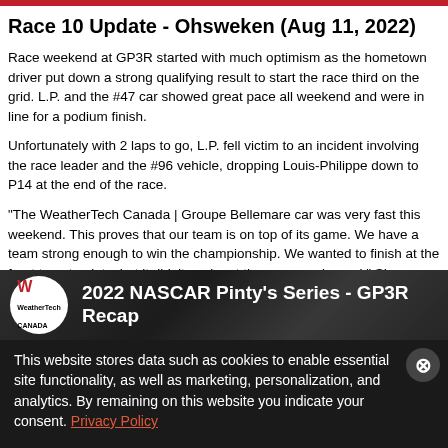Race 10 Update - Ohsweken (Aug 11, 2022)
Race weekend at GP3R started with much optimism as the hometown driver put down a strong qualifying result to start the race third on the grid. L.P. and the #47 car showed great pace all weekend and were in line for a podium finish.
Unfortunately with 2 laps to go, L.P. fell victim to an incident involving the race leader and the #96 vehicle, dropping Louis-Philippe down to P14 at the end of the race.
"The WeatherTech Canada | Groupe Bellemare car was very fast this weekend. This proves that our team is on top of its game. We have a team strong enough to win the championship. We wanted to finish at the front to get points, but it didn't work out the way we planned." Shares L.P.
[Figure (screenshot): Video thumbnail showing '2022 NASCAR Pinty's Series - GP3R Recap' with WeatherTech Canada logo on dark background with racing cars]
This website stores data such as cookies to enable essential site functionality, as well as marketing, personalization, and analytics. By remaining on this website you indicate your consent. Privacy Policy